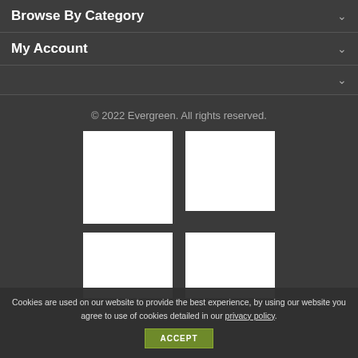Browse By Category
My Account
© 2022 Evergreen. All rights reserved.
[Figure (other): Four white rectangular image placeholders arranged in a 2x2 grid on a dark background]
Cookies are used on our website to provide the best experience, by using our website you agree to use of cookies detailed in our privacy policy.